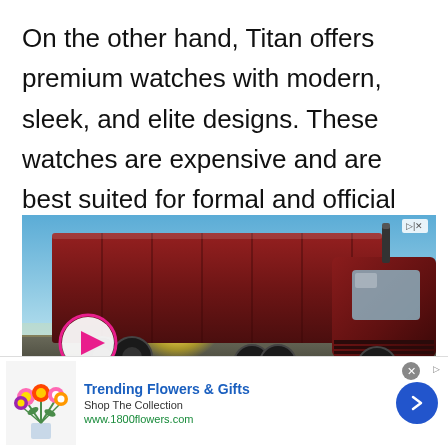On the other hand, Titan offers premium watches with modern, sleek, and elite designs. These watches are expensive and are best suited for formal and official use.
[Figure (photo): Video advertisement showing a red semi truck/lorry driving on a road with a play button overlay and ad controls in the top right corner.]
[Figure (photo): Advertisement banner for 1800flowers.com showing colorful flower bouquet, text 'Trending Flowers & Gifts', 'Shop The Collection', 'www.1800flowers.com', with a blue circular arrow button on the right.]